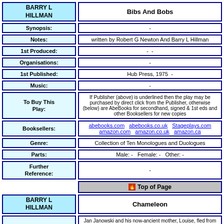| BARRY L HILLMAN | Bibs And Bobs |
| Synopsis: | - |
| Notes: | written by Robert G Newton And Barry L Hillman |
| 1st Produced: | -  - |
| Organisations: | - |
| 1st Published: | Hub Press, 1975  - |
| Music: | - |
| To Buy This Play: | If Publisher (above) is underlined then the play may be purchased by direct click from the Publisher, otherwise (below) are AbeBooks for secondhand, signed & 1st eds and other Booksellers for new copies |
| Booksellers: | abebooks.com  abebooks.co.uk  Stageplays.com  amazon.com  amazon.co.uk  amazon.ca |
| Genre: | Collection of Ten Monologues and Duologues |
| Parts: | Male: -   Female: -   Other: - |
| Further Reference: | - |
Top of Page
| BARRY L HILLMAN | Chameleon |
| Synopsis: | Jan Janowski and his now-ancient mother, Louise, fled from Poland during the Second World War and now live in London, where Jan is an intellectual antiques dealer, a self-hating and bigoted Jew. Jan - now plain John - is |